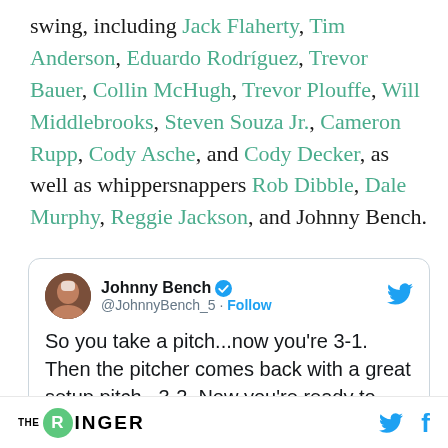swing, including Jack Flaherty, Tim Anderson, Eduardo Rodríguez, Trevor Bauer, Collin McHugh, Trevor Plouffe, Will Middlebrooks, Steven Souza Jr., Cameron Rupp, Cody Asche, and Cody Decker, as well as whippersnappers Rob Dibble, Dale Murphy, Reggie Jackson, and Johnny Bench.
[Figure (screenshot): Embedded tweet from @JohnnyBench_5 (Johnny Bench, verified): 'So you take a pitch...now you're 3-1. Then the pitcher comes back with a great setup pitch...3-2. Now you're ready to groundout [cut off]']
THE RINGER